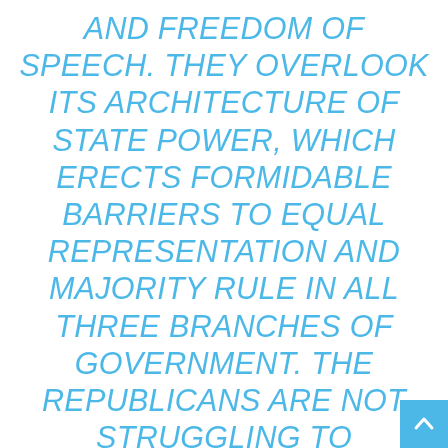AND FREEDOM OF SPEECH. THEY OVERLOOK ITS ARCHITECTURE OF STATE POWER, WHICH ERECTS FORMIDABLE BARRIERS TO EQUAL REPRESENTATION AND MAJORITY RULE IN ALL THREE BRANCHES OF GOVERNMENT. THE REPUBLICANS ARE NOT STRUGGLING TO OVERTURN A LONG AND STORIED HISTORY OF DEMOCRATIC RULES AND NORMS. THEY'RE WALKING THROUGH AN OPEN DOOR.... IF THERE IS ANY SOLACE TO BE GAINED FROM THIS SORRY STORY, IT IS THAT IT IS A TYPICAL AMERICAN STORY. WE ARE